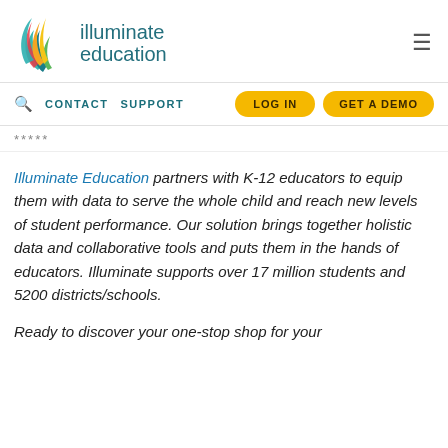[Figure (logo): Illuminate Education logo with flame icon in orange, gold, teal, and green colors, with company name 'illuminate education' in teal to the right]
CONTACT  SUPPORT  LOG IN  GET A DEMO
*****
Illuminate Education partners with K-12 educators to equip them with data to serve the whole child and reach new levels of student performance. Our solution brings together holistic data and collaborative tools and puts them in the hands of educators. Illuminate supports over 17 million students and 5200 districts/schools.
Ready to discover your one-stop shop for your